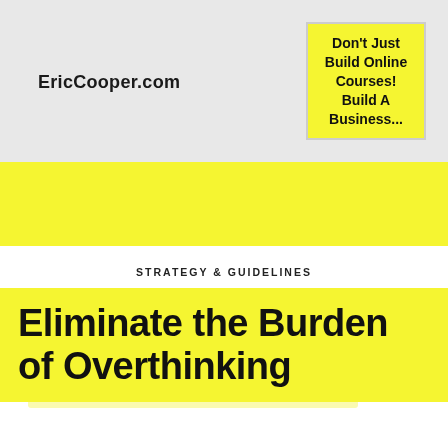EricCooper.com
Don't Just Build Online Courses! Build A Business...
[Figure (screenshot): Website navigation bar with shopping cart icon, hamburger menu icon, and a search field reading 'Type Here...' on a yellow background]
STRATEGY & GUIDELINES
Eliminate the Burden of Overthinking